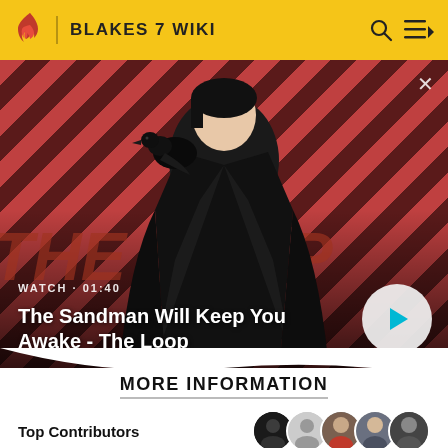BLAKES 7 WIKI
[Figure (screenshot): Video thumbnail for 'The Sandman Will Keep You Awake - The Loop' showing a dark-clothed person with a raven on their shoulder against a red and dark striped diagonal background. Includes a play button, WATCH · 01:40 label, and THE LOOP watermark text.]
The Sandman Will Keep You Awake - The Loop
MORE INFORMATION
Top Contributors